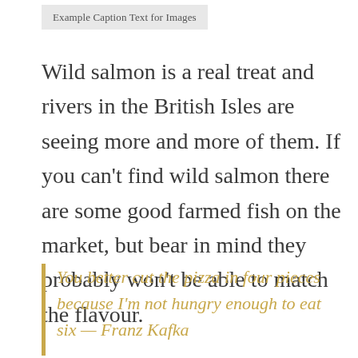Example Caption Text for Images
Wild salmon is a real treat and rivers in the British Isles are seeing more and more of them. If you can't find wild salmon there are some good farmed fish on the market, but bear in mind they probably won't be able to match the flavour.
You better cut the pizza in four pieces because I'm not hungry enough to eat six — Franz Kafka